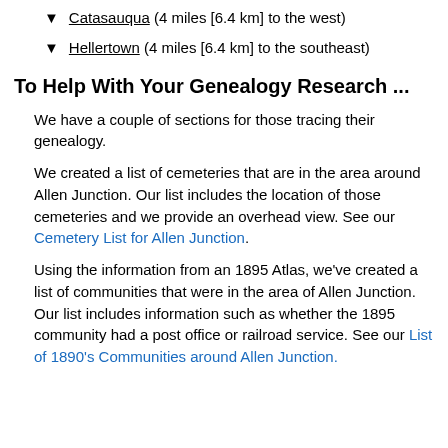▼ Catasauqua (4 miles [6.4 km] to the west)
▼ Hellertown (4 miles [6.4 km] to the southeast)
To Help With Your Genealogy Research ...
We have a couple of sections for those tracing their genealogy.
We created a list of cemeteries that are in the area around Allen Junction. Our list includes the location of those cemeteries and we provide an overhead view. See our Cemetery List for Allen Junction.
Using the information from an 1895 Atlas, we've created a list of communities that were in the area of Allen Junction. Our list includes information such as whether the 1895 community had a post office or railroad service. See our List of 1890's Communities around Allen Junction.